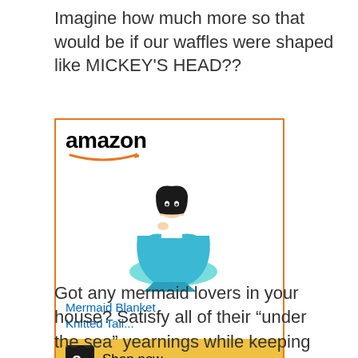Imagine how much more so that would be if our waffles were shaped like MICKEY'S HEAD??
[Figure (screenshot): Amazon advertisement showing a Mermaid Blanket Knitted Tail product with an image of a child wearing a teal mermaid tail blanket. The ad has the Amazon logo at the top, product title 'Mermaid Blanket Knitted Tail...' in blue, and a 'Shop now' button at the bottom with an Amazon 'a' logo on a gold/yellow background, surrounded by an orange border.]
Got any mermaid lovers in your house? Satisfy all of their “under the sea” yearnings while keeping their tootsies toasty with this fun mermaid tale